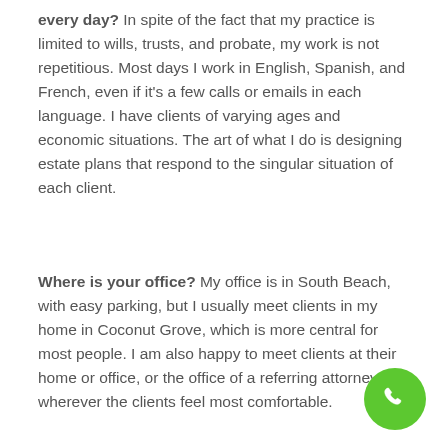every day? In spite of the fact that my practice is limited to wills, trusts, and probate, my work is not repetitious. Most days I work in English, Spanish, and French, even if it's a few calls or emails in each language. I have clients of varying ages and economic situations. The art of what I do is designing estate plans that respond to the singular situation of each client.
Where is your office? My office is in South Beach, with easy parking, but I usually meet clients in my home in Coconut Grove, which is more central for most people. I am also happy to meet clients at their home or office, or the office of a referring attorney: wherever the clients feel most comfortable.